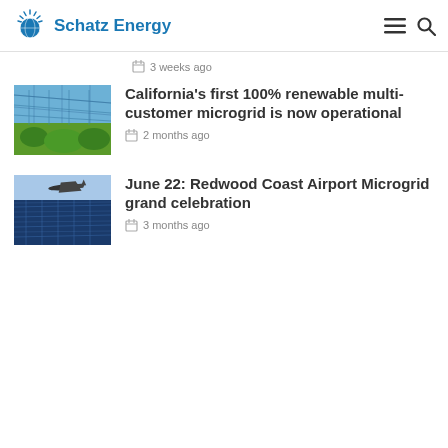Schatz Energy
3 weeks ago
California's first 100% renewable multi-customer microgrid is now operational
2 months ago
June 22: Redwood Coast Airport Microgrid grand celebration
3 months ago